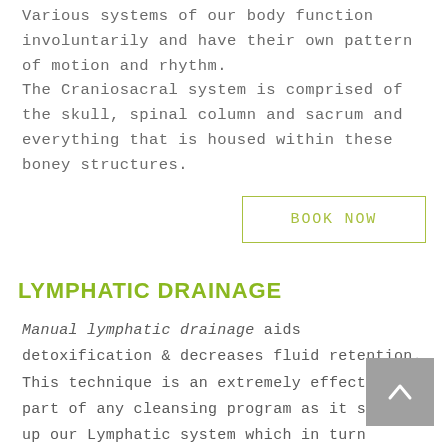Various systems of our body function involuntarily and have their own pattern of motion and rhythm. The Craniosacral system is comprised of the skull, spinal column and sacrum and everything that is housed within these boney structures.
BOOK NOW
LYMPHATIC DRAINAGE
Manual lymphatic drainage aids detoxification & decreases fluid retention. This technique is an extremely effective part of any cleansing program as it speeds up our Lymphatic system which in turn removes